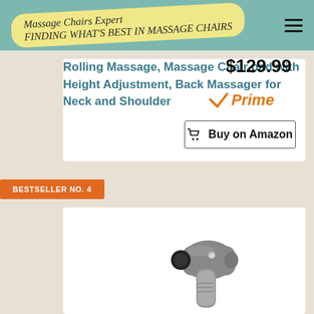Massage Chairs Expert
Rolling Massage, Massage Chair pad with Height Adjustment, Back Massager for Neck and Shoulder
$129.99
[Figure (logo): Amazon Prime logo]
Buy on Amazon
BESTSELLER NO. 4
[Figure (photo): Massage gun device in grey/silver color]